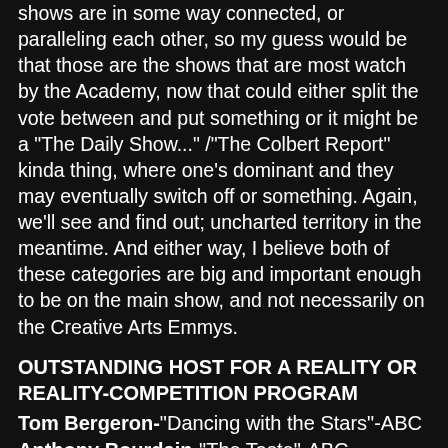shows are in some way connected, or paralleling each other, so my guess would be that those are the shows that are most watch by the Academy, now that could either split the vote between and put something or it might be a "The Daily Show..." /"The Colbert Report" kinda thing, where one's dominant and they may eventually switch off or something. Again, we'll see and find out; uncharted territory in the meantime. And either way, I believe both of these categories are big and important enough to be on the main show, and not necessarily on the Creative Arts Emmys.
OUTSTANDING HOST FOR A REALITY OR REALITY-COMPETITION PROGRAM
Tom Bergeron-"Dancing with the Stars"-ABC
Anthony Bourdain-"The Taste"-ABC
Cat Deeley-"So You Think You Can Dance"-FOX
Heidi Klum and Tim Gunn-"Project Runway"-Lifetime
Jane Lynch-"Hollywood Game Night"-NBC
Betty White-"Betty White's Off Their Rockers"-Lifetime
I was happy that I correctly predicted Jane Lynch to get in here, but other than that, no real change from last year, and I